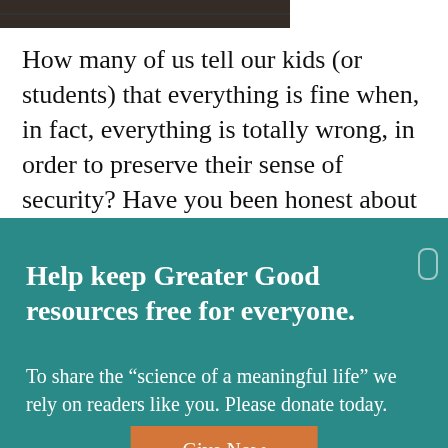[Figure (photo): A dark/muted photo strip at the top of the page, partially visible]
How many of us tell our kids (or students) that everything is fine when, in fact, everything is totally wrong, in order to preserve their sense of security? Have you been honest about everything
Help keep Greater Good resources free for everyone.
To share the “science of a meaningful life” we rely on readers like you. Please donate today.
Give Now